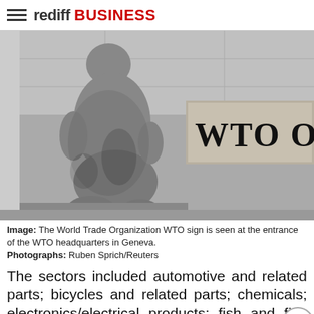rediff BUSINESS
[Figure (photo): Stone statue at the entrance of the WTO headquarters in Geneva, with a sign reading 'WTO O' (partially visible). Black and white photograph.]
Image: The World Trade Organization WTO sign is seen at the entrance of the WTO headquarters in Geneva. Photographs: Ruben Sprich/Reuters
The sectors included automotive and related parts; bicycles and related parts; chemicals; electronics/electrical products; fish and fish products; forestry products; gems and jewellery products; raw materials; sports equipment; health care, pharmaceutical